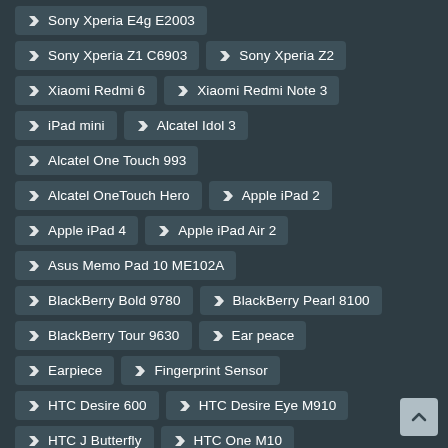Sony Xperia E4g E2003
Sony Xperia Z1 C6903
Sony Xperia Z2
Xiaomi Redmi 6
Xiaomi Redmi Note 3
iPad mini
Alcatel Idol 3
Alcatel One Touch 993
Alcatel OneTouch Hero
Apple iPad 2
Apple iPad 4
Apple iPad Air 2
Asus Memo Pad 10 ME102A
BlackBerry Bold 9780
BlackBerry Pearl 8100
BlackBerry Tour 9630
Ear peace
Earpiece
Fingerprint Sensor
HTC Desire 600
HTC Desire Eye M910
HTC J Butterfly
HTC One M10